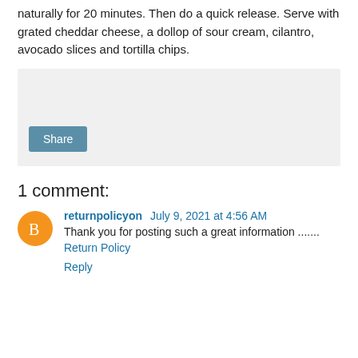naturally for 20 minutes. Then do a quick release. Serve with grated cheddar cheese, a dollop of sour cream, cilantro, avocado slices and tortilla chips.
[Figure (other): Social share box with a Share button on a light grey background]
1 comment:
returnpolicyon July 9, 2021 at 4:56 AM
Thank you for posting such a great information .......
Return Policy
Reply